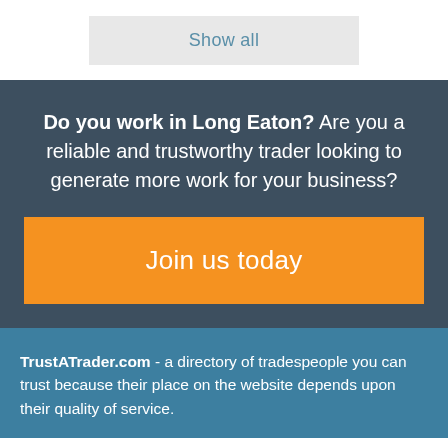Show all
Do you work in Long Eaton? Are you a reliable and trustworthy trader looking to generate more work for your business?
Join us today
TrustATrader.com - a directory of tradespeople you can trust because their place on the website depends upon their quality of service.